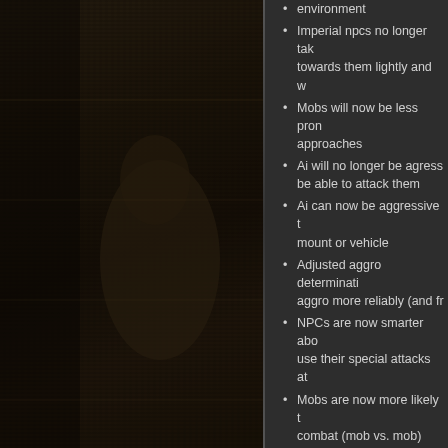[Figure (photo): Dark fantasy game screenshot showing armored figure on left side panel background]
environment
Imperial npcs no longer tak towards them lightly and w
Mobs will now be less pron approaches
Ai will no longer be agress be able to attack them
Ai can now be aggressive t mount or vehicle
Adjusted aggro determinati aggro more reliably (and fr
NPCs are now smarter abo use their special attacks at
Mobs are now more likely t combat (mob vs. mob)
AI awareness is no longer c As long as players are in ra
Aggressive mobs are much player tries to /peace
Tougher mobs should now
A mob's resistances will no fatigue (beyond 500)
Added loot to some mobs t
Jedi sentinels no longer dr killed, and will respawn fas
Events/Dungeons/Them
Added Hero of Tatooine qu
Added generic quests to cr and nobles